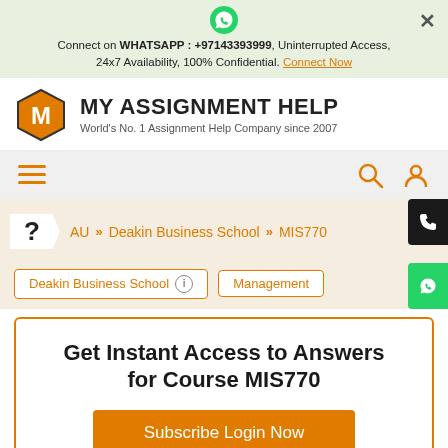[Figure (screenshot): WhatsApp notification bar with icon and connect now link]
[Figure (logo): My Assignment Help logo - orange hexagon with M, bold title text and subtitle]
[Figure (screenshot): Navigation bar with hamburger menu, search and user icons]
AU >> Deakin Business School >> MIS770
Deakin Business School | Management
Get Instant Access to Answers for Course MIS770
Subscribe Login Now
Chat Now